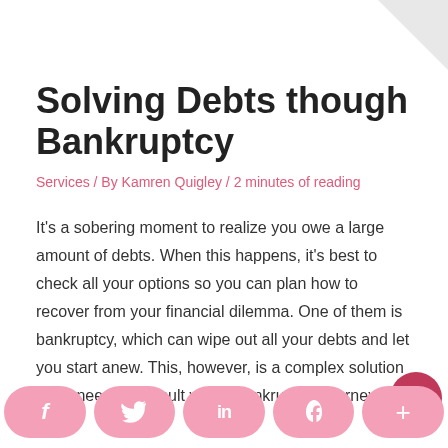Solving Debts though Bankruptcy
Services / By Kamren Quigley / 2 minutes of reading
It's a sobering moment to realize you owe a large amount of debts. When this happens, it's best to check all your options so you can plan how to recover from your financial dilemma. One of them is bankruptcy, which can wipe out all your debts and let you start anew. This, however, is a complex solution you'll need to consult with a bankruptcy attorney.